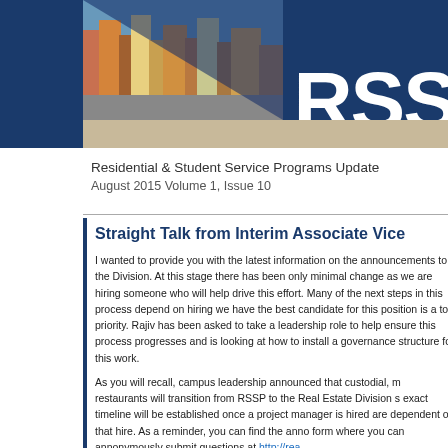[Figure (photo): Header banner with city building photo and dark navy blue background with RSS text logo]
Residential & Student Service Programs Update
August 2015 Volume 1, Issue 10
Straight Talk from Interim Associate Vice
I wanted to provide you with the latest information on the announcements to the Division. At this stage there has been only minimal change as we are hiring someone who will help drive this effort. Many of the next steps in this process depend on hiring we have the best candidate for this position is a top priority. Rajiv has been asked to take a leadership role to help ensure this process progresses and is looking at how to install a governance structure for this work.
As you will recall, campus leadership announced that custodial, maintenance, and restaurants will transition from RSSP to the Real Estate Division starting in July. The exact timeline will be established once a project manager is hired as many next steps are dependent on that hire. As a reminder, you can find the announcement and a form where you can annonymously submit questions at http://rea...